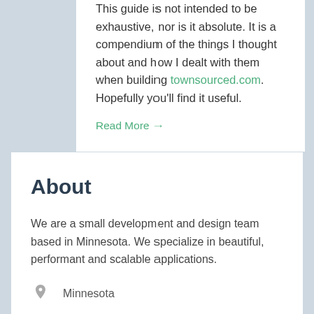This guide is not intended to be exhaustive, nor is it absolute. It is a compendium of the things I thought about and how I dealt with them when building townsourced.com. Hopefully you'll find it useful.
Read More →
About
We are a small development and design team based in Minnesota. We specialize in beautiful, performant and scalable applications.
Minnesota
solutions@townsourced.com